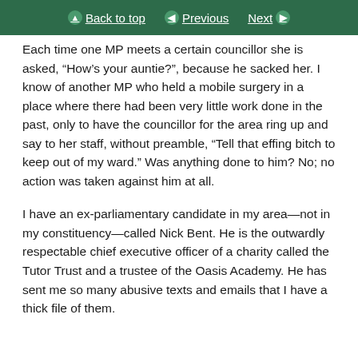Back to top | Previous | Next
Each time one MP meets a certain councillor she is asked, “How’s your auntie?”, because he sacked her. I know of another MP who held a mobile surgery in a place where there had been very little work done in the past, only to have the councillor for the area ring up and say to her staff, without preamble, “Tell that effing bitch to keep out of my ward.” Was anything done to him? No; no action was taken against him at all.
I have an ex-parliamentary candidate in my area—not in my constituency—called Nick Bent. He is the outwardly respectable chief executive officer of a charity called the Tutor Trust and a trustee of the Oasis Academy. He has sent me so many abusive texts and emails that I have a thick file of them.